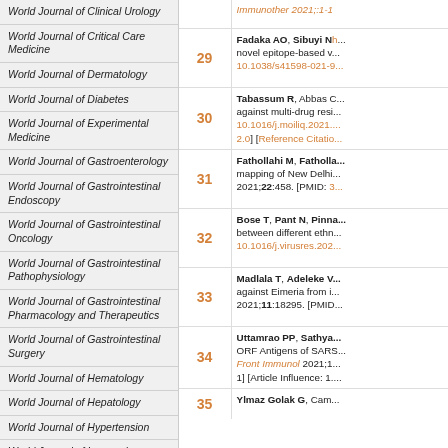World Journal of Clinical Urology
World Journal of Critical Care Medicine
World Journal of Dermatology
World Journal of Diabetes
World Journal of Experimental Medicine
World Journal of Gastroenterology
World Journal of Gastrointestinal Endoscopy
World Journal of Gastrointestinal Oncology
World Journal of Gastrointestinal Pathophysiology
World Journal of Gastrointestinal Pharmacology and Therapeutics
World Journal of Gastrointestinal Surgery
World Journal of Hematology
World Journal of Hepatology
World Journal of Hypertension
World Journal of Immunology
World Journal of Medical Genetics
Immunother 2021;:1-1
29 Fadaka AO, Sibuyi Nh... novel epitope-based v... 10.1038/s41598-021-9...
30 Tabassum R, Abbas C... against multi-drug resi... 10.1016/j.moiliq.2021.... 2.0] [Reference Citatio...
31 Fathollahi M, Fatholla... mapping of New Delhi... 2021;22:458. [PMID: 3...
32 Bose T, Pant N, Pinna... between different ethn... 10.1016/j.virusres.202...
33 Madlala T, Adeleke V... against Eimeria from i... 2021;11:18295. [PMID...
34 Uttamrao PP, Sathya... ORF Antigens of SARS... Front Immunol 2021;1... 1] [Article Influence: 1....
35 Ylmaz Golak G, Cam...